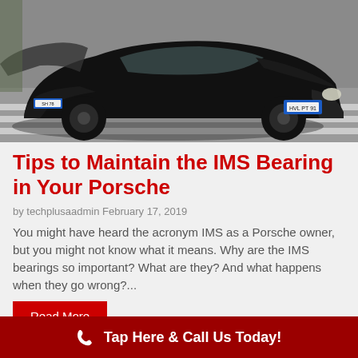[Figure (photo): Black Porsche 911 convertible driving on a road with crosswalk, license plate HVL PT 91]
Tips to Maintain the IMS Bearing in Your Porsche
by techplusaadmin February 17, 2019
You might have heard the acronym IMS as a Porsche owner, but you might not know what it means. Why are the IMS bearings so important? What are they? And what happens when they go wrong?...
Read More
Tap Here & Call Us Today!